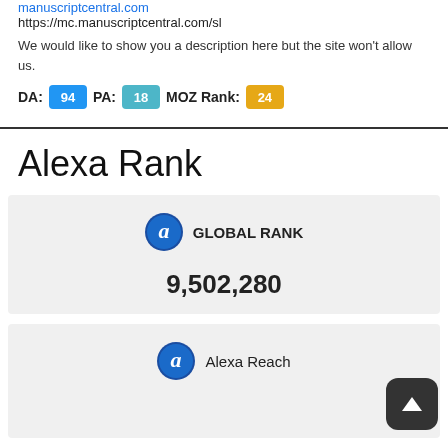manuscriptcentral.com
https://mc.manuscriptcentral.com/sl
We would like to show you a description here but the site won't allow us.
DA: 94  PA: 18  MOZ Rank: 24
Alexa Rank
GLOBAL RANK
9,502,280
Alexa Reach